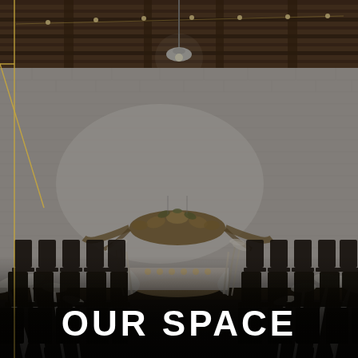[Figure (photo): Interior of an event venue with white painted brick walls and exposed wooden ceiling with string lights and a pendant lamp. Rows of dark chiavari chairs are arranged on either side of a central aisle leading to a head table. A large dried floral arrangement hangs in the air near the back wall. White pampas grass arrangements frame the altar area and the foreground.]
OUR SPACE